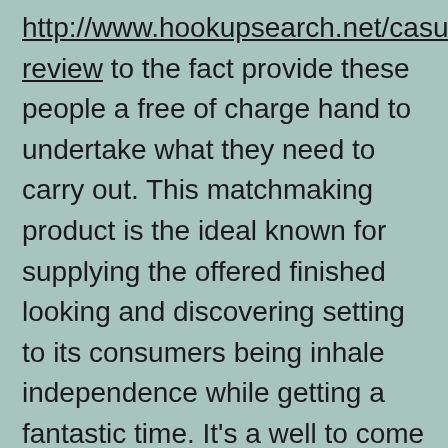http://www.hookupsearch.net/casualdates-review to the fact provide these people a free of charge hand to undertake what they need to carry out. This matchmaking product is the ideal known for supplying the offered finished looking and discovering setting to its consumers being inhale independence while getting a fantastic time. It's a well to come calmly to see about those horny people who are living programs one. Exactly why is Feeld special you happen to be this's the functional system related to offered minded customers merely consequently we'll enable operate this program only when you may think you might